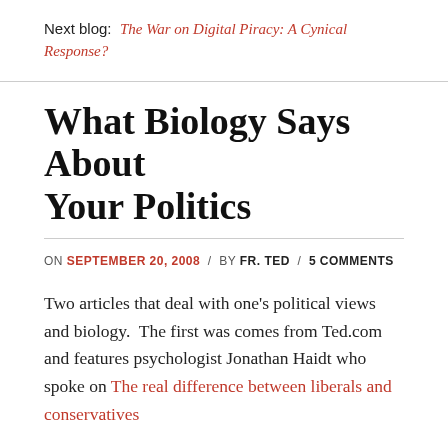Next blog:  The War on Digital Piracy: A Cynical Response?
What Biology Says About Your Politics
ON SEPTEMBER 20, 2008  /  BY FR. TED  /  5 COMMENTS
Two articles that deal with one's political views and biology.  The first was comes from Ted.com  and features psychologist Jonathan Haidt who spoke on The real difference between liberals and conservatives